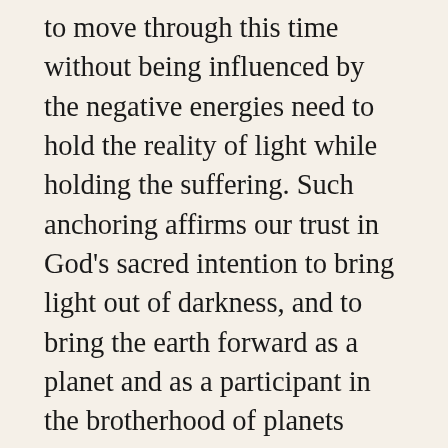to move through this time without being influenced by the negative energies need to hold the reality of light while holding the suffering. Such anchoring affirms our trust in God's sacred intention to bring light out of darkness, and to bring the earth forward as a planet and as a participant in the brotherhood of planets whose consciousness is based on light. Though this may seem like a distant and implausible vision, its truth lies deeply buried within the human heart. For there are those who are our brothers and sisters on the earth who wait for this time of transition to end and for peace and harmony to prevail. And there are those who are part of the greater life of the